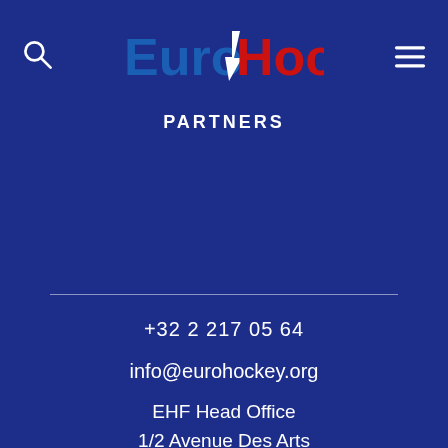EuroHockey PARTNERS
PARTNERS
+32 2 217 05 64
info@eurohockey.org
EHF Head Office
1/2 Avenue Des Arts